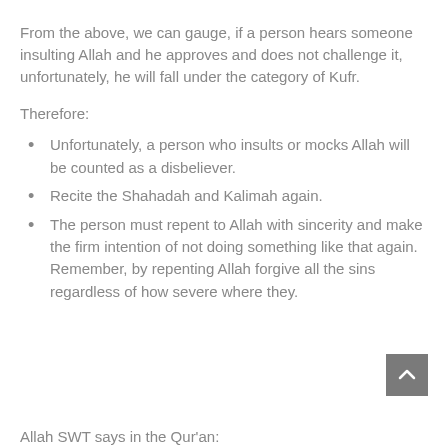From the above, we can gauge, if a person hears someone insulting Allah and he approves and does not challenge it, unfortunately, he will fall under the category of Kufr.
Therefore:
Unfortunately, a person who insults or mocks Allah will be counted as a disbeliever.
Recite the Shahadah and Kalimah again.
The person must repent to Allah with sincerity and make the firm intention of not doing something like that again. Remember, by repenting Allah forgive all the sins regardless of how severe where they.
Allah SWT says in the Qur'an: